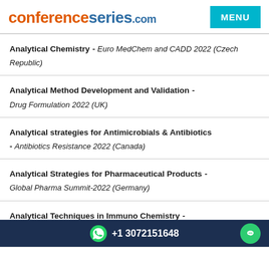conferenceseries.com  MENU
Analytical Chemistry - Euro MedChem and CADD 2022 (Czech Republic)
Analytical Method Development and Validation - Drug Formulation 2022 (UK)
Analytical strategies for Antimicrobials & Antibiotics - Antibiotics Resistance 2022 (Canada)
Analytical Strategies for Pharmaceutical Products - Global Pharma Summit-2022 (Germany)
Analytical Techniques in Immuno Chemistry - Separation Techniques 2022 (Spain)
Analytical Toxicology - Toxicologycongress-2022